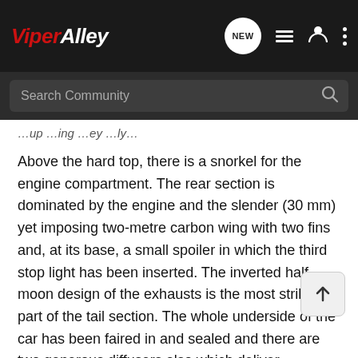ViperAlley — NEW [icons]
Search Community
(partial/truncated line at top of content area)
Above the hard top, there is a snorkel for the engine compartment. The rear section is dominated by the engine and the slender (30 mm) yet imposing two-metre carbon wing with two fins and, at its base, a small spoiler in which the third stop light has been inserted. The inverted half moon design of the exhausts is the most striking part of the tail section. The whole underside of the car has been faired in and sealed and there are two generous diffusers also which deliver maximum “ground effect.”
630 HP SIX-LITRE ENGINE
The MC12 benefits from all of the Ferrari Maserati Group’s most advanced technologies and competition experience. It